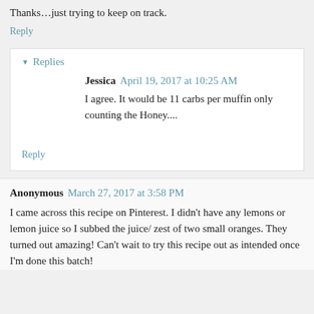Thanks…just trying to keep on track.
Reply
▾ Replies
Jessica  April 19, 2017 at 10:25 AM
I agree. It would be 11 carbs per muffin only counting the Honey....
Reply
Anonymous  March 27, 2017 at 3:58 PM
I came across this recipe on Pinterest. I didn't have any lemons or lemon juice so I subbed the juice/ zest of two small oranges. They turned out amazing! Can't wait to try this recipe out as intended once I'm done this batch!